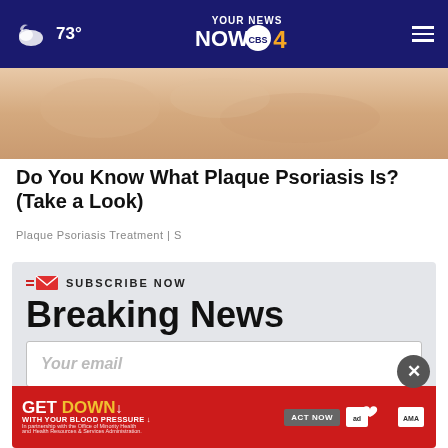73° YOUR NEWS NOW CBS 4
[Figure (photo): Close-up photo of human skin showing psoriasis texture]
Do You Know What Plaque Psoriasis Is? (Take a Look)
Plaque Psoriasis Treatment | S
SUBSCRIBE NOW
Breaking News
Your email
[Figure (screenshot): GET DOWN WITH YOUR BLOOD PRESSURE advertisement banner with ACT NOW button, ad council logo, American Heart Association logo, and AMA logo]